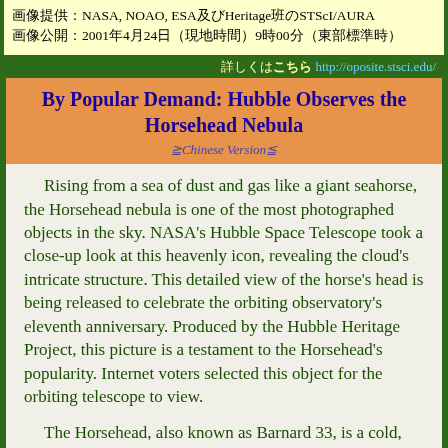画像提供：NASA, NOAO, ESA及びHeritage班のSTScI/AURA　画像公開：2001年4月24日（現地時間）9時00分（東部標準時）
詳しくはこちら http://oposite.stsci.edu/
By Popular Demand: Hubble Observes the Horsehead Nebula
≧Chinese Version≦
Rising from a sea of dust and gas like a giant seahorse, the Horsehead nebula is one of the most photographed objects in the sky. NASA's Hubble Space Telescope took a close-up look at this heavenly icon, revealing the cloud's intricate structure. This detailed view of the horse's head is being released to celebrate the orbiting observatory's eleventh anniversary. Produced by the Hubble Heritage Project, this picture is a testament to the Horsehead's popularity. Internet voters selected this object for the orbiting telescope to view.
The Horsehead, also known as Barnard 33, is a cold, dark cloud of gas and dust, silhouetted against the bright nebula, IC 434. The bright area at the top left